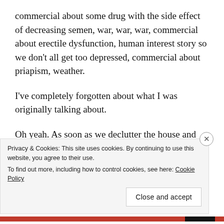commercial about some drug with the side effect of decreasing semen, war, war, war, commercial about erectile dysfunction, human interest story so we don't all get too depressed, commercial about priapism, weather.
I've completely forgotten about what I was originally talking about.
Oh yeah. As soon as we declutter the house and call PODS to haul our shit away, a sign is going in the yard and we're going sell this sucker. It has a
Privacy & Cookies: This site uses cookies. By continuing to use this website, you agree to their use.
To find out more, including how to control cookies, see here: Cookie Policy
Close and accept